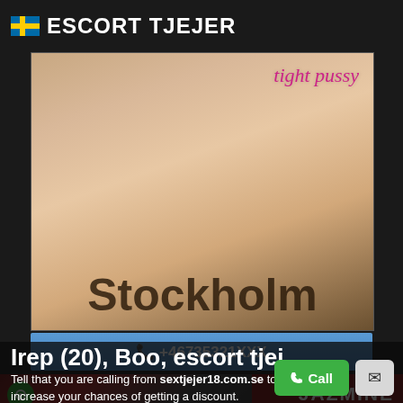ESCORT TJEJER
[Figure (photo): Main escort advertisement image showing Stockholm with overlaid text 'tight pussy' and 'Stockholm']
+46735321XXX
[Figure (photo): Thumbnail images of escort profiles including one labeled JAZMINE]
Irep (20), Boo, escort tjej
Tell that you are calling from sextjejer18.com.se to increase your chances of getting a discount.